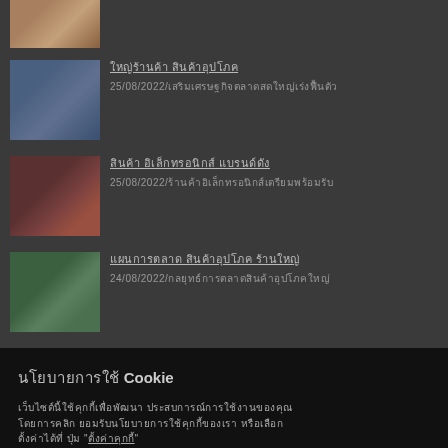[Figure (photo): Thumbnail image of retail store shelves - top item partially visible]
Thai title text | 25/08/2022/Thai news article description text
[Figure (photo): Retail store shelves with products]
Thai title text | 25/08/2022/Thai news article description text
[Figure (photo): Electronics store interior with people shopping]
Thai title text | 24/08/2022/Thai news article description text
[Figure (photo): Electronics display shelves]
Cookie consent notice with Thai text and buttons for settings, reject, and accept